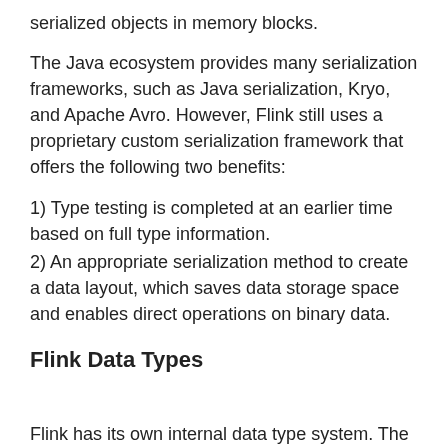serialized objects in memory blocks.
The Java ecosystem provides many serialization frameworks, such as Java serialization, Kryo, and Apache Avro. However, Flink still uses a proprietary custom serialization framework that offers the following two benefits:
1) Type testing is completed at an earlier time based on full type information.
2) An appropriate serialization method to create a data layout, which saves data storage space and enables direct operations on binary data.
Flink Data Types
Flink has its own internal data type system. The preceding figure shows the data type system they are supported by Flink.